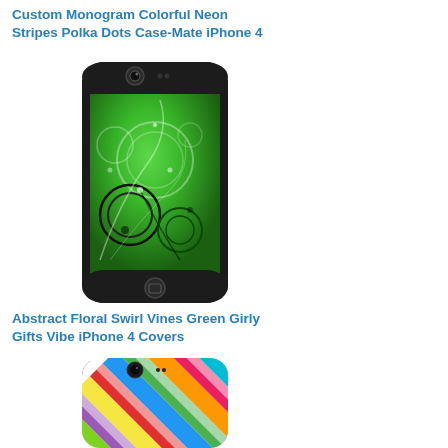Custom Monogram Colorful Neon Stripes Polka Dots Case-Mate iPhone 4
[Figure (photo): Green iPhone 4 case with abstract swirl circles and vines design on a dark green background]
Abstract Floral Swirl Vines Green Girly Gifts Vibe iPhone 4 Covers
[Figure (photo): iPhone 4 case with colorful diagonal checkerboard pattern in multiple bright colors]